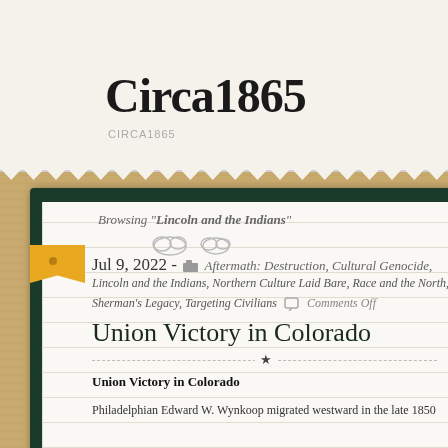Circa1865
CIRCA1865
Browsing "Lincoln and the Indians"
Jul 9, 2022 - Aftermath: Destruction, Cultural Genocide, Lincoln and the Indians, Northern Culture Laid Bare, Race and the North, R Sherman's Legacy, Targeting Civilians  Comments Off
Union Victory in Colorado
Union Victory in Colorado
Philadelphian Edward W. Wynkoop migrated westward in the late 1850